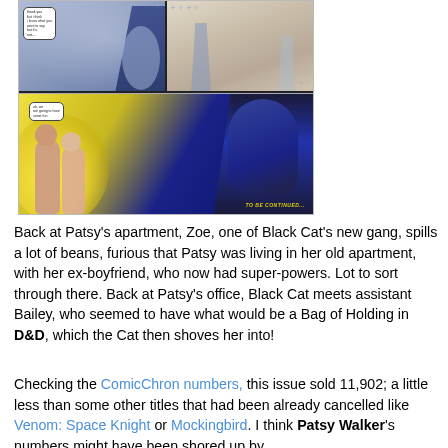[Figure (illustration): Comic book panels showing scenes from a Black Cat / Patsy Walker comic. Top left panel: blue-toned scene with a superhero silhouette and speech bubble. Top right panel: lighter toned scene with two characters. Bottom panel: large panel showing a yellow-glowing scene with two characters (women with glasses) on the left and a dark superhero figure on the right. 'TO BE CONTINUED...' text in yellow at bottom right.]
Back at Patsy's apartment, Zoe, one of Black Cat's new gang, spills a lot of beans, furious that Patsy was living in her old apartment, with her ex-boyfriend, who now had super-powers. Lot to sort through there. Back at Patsy's office, Black Cat meets assistant Bailey, who seemed to have what would be a Bag of Holding in D&D, which the Cat then shoves her into!
Checking the ComicChron numbers, this issue sold 11,902; a little less than some other titles that had been already cancelled like Venom: Space Knight or Mockingbird. I think Patsy Walker's numbers might have been shored up by